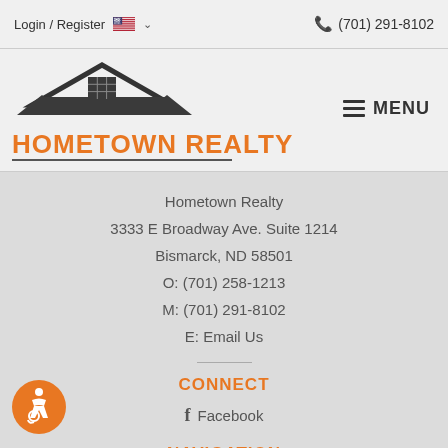Login / Register  (701) 291-8102
[Figure (logo): Hometown Realty logo with house icon and orange text]
Hometown Realty
3333 E Broadway Ave. Suite 1214
Bismarck, ND 58501
O: (701) 258-1213
M: (701) 291-8102
E: Email Us
CONNECT
Facebook
NAVIGATION
Bismarck